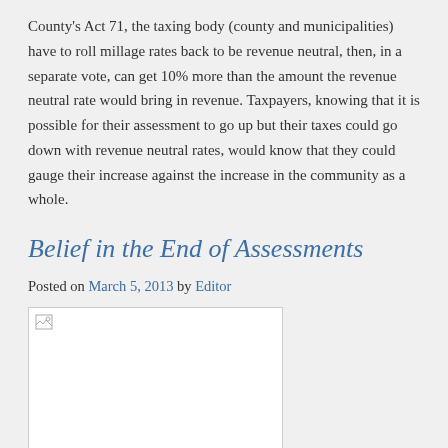County's Act 71, the taxing body (county and municipalities) have to roll millage rates back to be revenue neutral, then, in a separate vote, can get 10% more than the amount the revenue neutral rate would bring in revenue. Taxpayers, knowing that it is possible for their assessment to go up but their taxes could go down with revenue neutral rates, would know that they could gauge their increase against the increase in the community as a whole.
Belief in the End of Assessments
Posted on March 5, 2013 by Editor
[Figure (photo): Broken image placeholder in a white bordered box]
Four years after the state's highest court had the issue of base